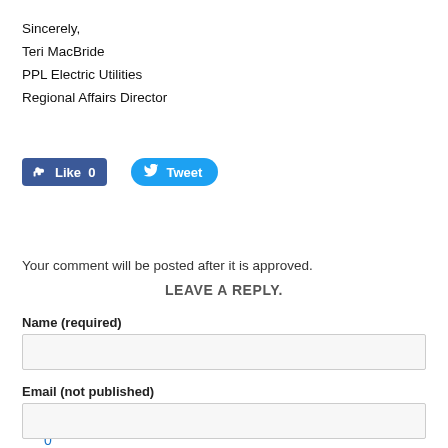Sincerely,
Teri MacBride
PPL Electric Utilities
Regional Affairs Director
[Figure (screenshot): Facebook Like button showing count 0 and Twitter Tweet button]
0 Comments
Your comment will be posted after it is approved.
LEAVE A REPLY.
Name (required)
Email (not published)
Website